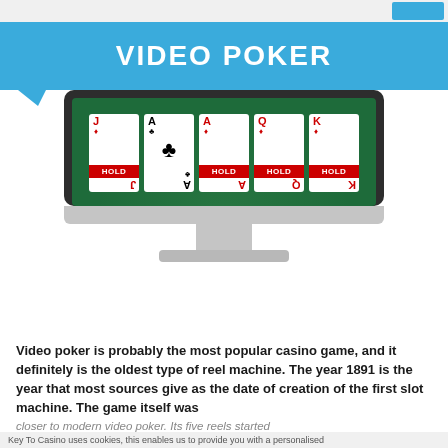VIDEO POKER
[Figure (illustration): Illustration of a computer monitor displaying a video poker game with five playing cards (J♦ HOLD, A♣, A♦ HOLD, Q♦ HOLD, K♦ HOLD) on a green felt background.]
Video poker is probably the most popular casino game, and it definitely is the oldest type of reel machine. The year 1891 is the year that most sources give as the date of creation of the first slot machine. The game itself was closer to modern video poker. Its five reels started
Key To Casino uses cookies, this enables us to provide you with a personalised